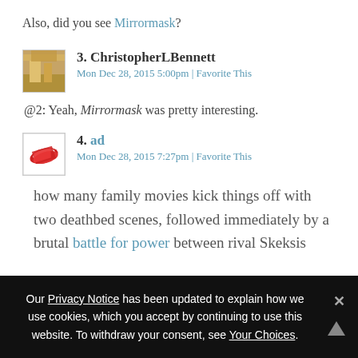Also, did you see Mirrormask?
3. ChristopherLBennett
Mon Dec 28, 2015 5:00pm | Favorite This
@2: Yeah, Mirrormask was pretty interesting.
4. ad
Mon Dec 28, 2015 7:27pm | Favorite This
how many family movies kick things off with two deathbed scenes, followed immediately by a brutal battle for power between rival Skeksis
Our Privacy Notice has been updated to explain how we use cookies, which you accept by continuing to use this website. To withdraw your consent, see Your Choices.